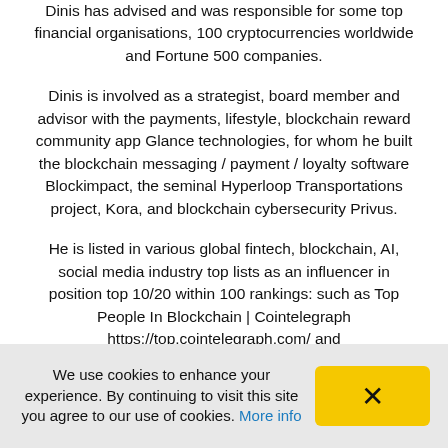Dinis has advised and was responsible for some top financial organisations, 100 cryptocurrencies worldwide and Fortune 500 companies.
Dinis is involved as a strategist, board member and advisor with the payments, lifestyle, blockchain reward community app Glance technologies, for whom he built the blockchain messaging / payment / loyalty software Blockimpact, the seminal Hyperloop Transportations project, Kora, and blockchain cybersecurity Privus.
He is listed in various global fintech, blockchain, AI, social media industry top lists as an influencer in position top 10/20 within 100 rankings: such as Top People In Blockchain | Cointelegraph https://top.cointelegraph.com/ and https://cryptoweekly.co/100/ .
He has been a lecturer at Copenhagen Business School, Groupe INSEEC/Monaco University and other leading
We use cookies to enhance your experience. By continuing to visit this site you agree to our use of cookies. More info